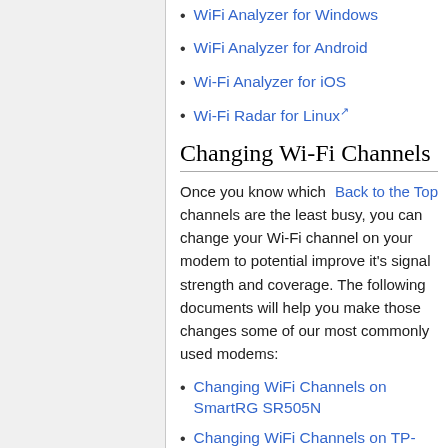WiFi Analyzer for Windows
WiFi Analyzer for Android
Wi-Fi Analyzer for iOS
Wi-Fi Radar for Linux
Changing Wi-Fi Channels
Once you know which channels are the least busy, you can change your Wi-Fi channel on your modem to potential improve it's signal strength and coverage. The following documents will help you make those changes some of our most commonly used modems:
Changing WiFi Channels on SmartRG SR505N
Changing WiFi Channels on TP-Link TD-W9970